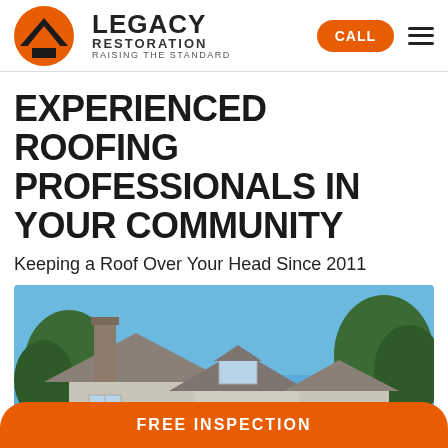[Figure (logo): Legacy Restoration logo: orange circle with black house/mountain chevron icon, text LEGACY RESTORATION RAISING THE STANDARD]
EXPERIENCED ROOFING PROFESSIONALS IN YOUR COMMUNITY
Keeping a Roof Over Your Head Since 2011
[Figure (photo): Suburban two-story house with gray roof, stone chimney, and trees against a blue sky]
FREE INSPECTION